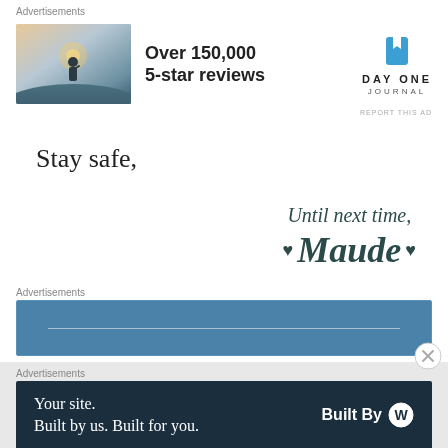Advertisements
[Figure (photo): Advertisement banner: photo of person on hilltop at sunset, text 'Over 150,000 5-star reviews', Day One Journal logo with bookmark icon]
Stay safe,
[Figure (illustration): Script/cursive signature sign-off reading 'Until next time, ♥ Maude ♥' with heart decorations in dark teal]
Advertisements
[Figure (screenshot): Blue banner advertisement with horizontal white line]
Advertisements
[Figure (screenshot): Dark navy advertisement: 'Your site. Built by us. Built for you.' with 'Built By' WordPress logo on right]